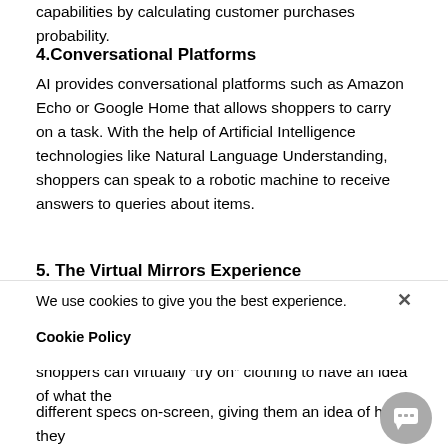capabilities by calculating customer purchases probability.
4.Conversational Platforms
AI provides conversational platforms such as Amazon Echo or Google Home that allows shoppers to carry on a task. With the help of Artificial Intelligence technologies like Natural Language Understanding, shoppers can speak to a robotic machine to receive answers to queries about items.
5. The Virtual Mirrors Experience
It is an engineered entity residing in software that connects with the connection to communicate with a human humanly. With the help of Artificial Intelligence, shoppers can virtually “try on” clothing to have an idea of what the
We use cookies to give you the best experience.
Cookie Policy
different specs on-screen, giving them an idea of how they